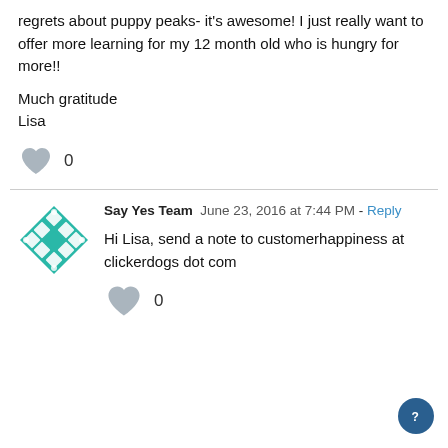regrets about puppy peaks- it's awesome! I just really want to offer more learning for my 12 month old who is hungry for more!!

Much gratitude
Lisa
[Figure (illustration): Heart/like icon (grey) with count 0]
[Figure (logo): Say Yes Team teal geometric diamond logo avatar]
Say Yes Team  June 23, 2016 at 7:44 PM - Reply
Hi Lisa, send a note to customerhappiness at clickerdogs dot com
[Figure (illustration): Heart/like icon (grey) with count 0]